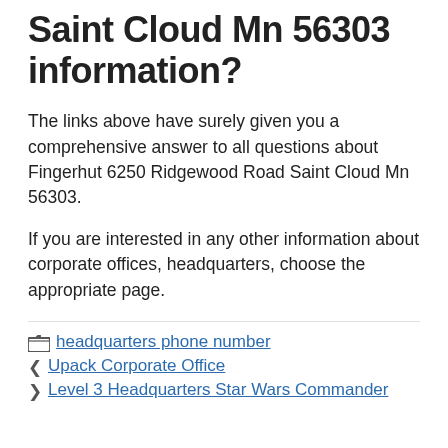Saint Cloud Mn 56303 information?
The links above have surely given you a comprehensive answer to all questions about Fingerhut 6250 Ridgewood Road Saint Cloud Mn 56303.
If you are interested in any other information about corporate offices, headquarters, choose the appropriate page.
headquarters phone number
Upack Corporate Office
Level 3 Headquarters Star Wars Commander